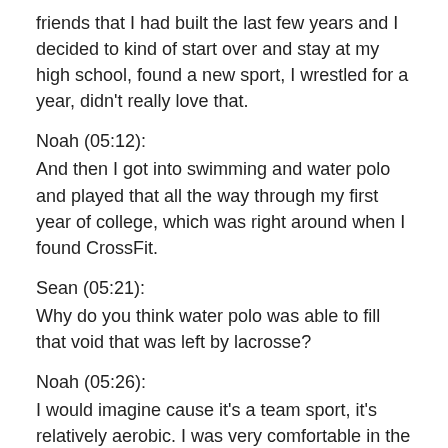friends that I had built the last few years and I decided to kind of start over and stay at my high school, found a new sport, I wrestled for a year, didn't really love that.
Noah (05:12):
And then I got into swimming and water polo and played that all the way through my first year of college, which was right around when I found CrossFit.
Sean (05:21):
Why do you think water polo was able to fill that void that was left by lacrosse?
Noah (05:26):
I would imagine cause it's a team sport, it's relatively aerobic. I was very comfortable in the pool so it was